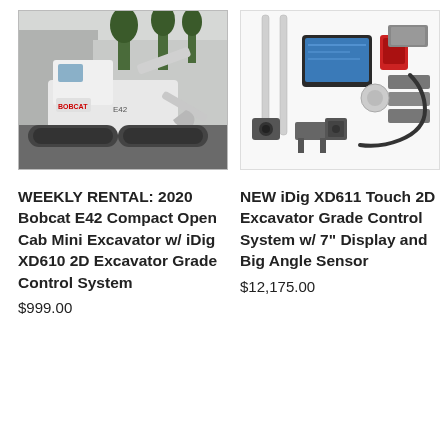[Figure (photo): 2020 Bobcat E42 Compact Open Cab Mini Excavator parked outdoors on pavement, white machine with tracks and bucket arm]
WEEKLY RENTAL: 2020 Bobcat E42 Compact Open Cab Mini Excavator w/ iDig XD610 2D Excavator Grade Control System
$999.00
[Figure (photo): NEW iDig XD611 Touch 2D Excavator Grade Control System kit with display, sensors, cables, and accessories laid out on white background]
NEW iDig XD611 Touch 2D Excavator Grade Control System w/ 7" Display and Big Angle Sensor
$12,175.00